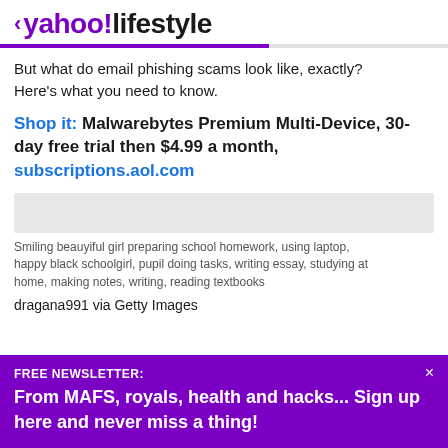‹ yahoo!/lifestyle
But what do email phishing scams look like, exactly? Here's what you need to know.
Shop it: Malwarebytes Premium Multi-Device, 30-day free trial then $4.99 a month, subscriptions.aol.com
[Figure (photo): Grey placeholder image rectangle representing a photo]
Smiling beauyiful girl preparing school homework, using laptop, happy black schoolgirl, pupil doing tasks, writing essay, studying at home, making notes, writing, reading textbooks
dragana991 via Getty Images
FREE NEWSLETTER:
From MAFS, royals, health and hacks... Sign up here and never miss a thing!